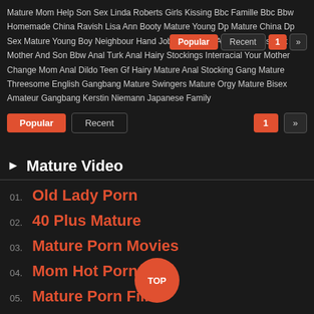Mature Mom Help Son Sex Linda Roberts Girls Kissing Bbc Famille Bbc Bbw Homemade China Ravish Lisa Ann Booty Mature Young Dp Mature China Dp Sex Mature Young Boy Neighbour Hand Job Pantyhose Ample Panties Lick Mother And Son Bbw Anal Turk Anal Hairy Stockings Interracial Your Mother Change Mom Anal Dildo Teen Gf Hairy Mature Anal Stocking Gang Mature Threesome English Gangbang Mature Swingers Mature Orgy Mature Bisex Amateur Gangbang Kerstin Niemann Japanese Family
▶ Mature Video
01. Old Lady Porn
02. 40 Plus Mature
03. Mature Porn Movies
04. Mom Hot Porn
05. Mature Porn Films
06. Mature Mom Tubes